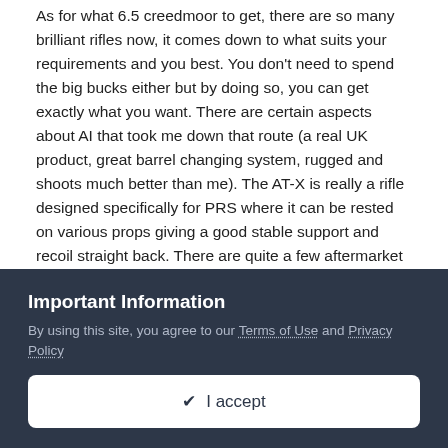As for what 6.5 creedmoor to get, there are so many brilliant rifles now, it comes down to what suits your requirements and you best. You don't need to spend the big bucks either but by doing so, you can get exactly what you want. There are certain aspects about AI that took me down that route (a real UK product, great barrel changing system, rugged and shoots much better than me). The AT-X is really a rifle designed specifically for PRS where it can be rested on various props giving a good stable support and recoil straight back. There are quite a few aftermarket stocks and a few production rifles with these characteristics so have a look at as many as you can.
Quote
Important Information
By using this site, you agree to our Terms of Use and Privacy Policy
I accept